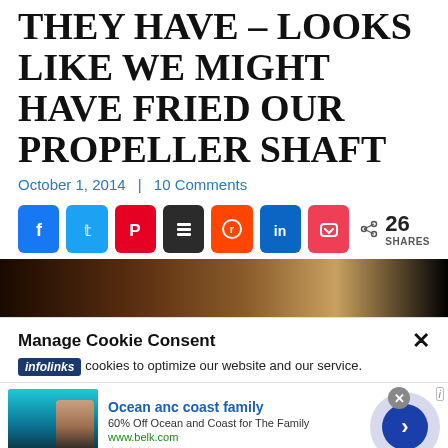COULDN'T GET ANY WORSE, THEY HAVE – LOOKS LIKE WE MIGHT HAVE FRIED OUR PROPELLER SHAFT
October 1, 2014 | 10 Comments
[Figure (screenshot): Social media share buttons: Facebook, Twitter, Pinterest, Buffer, Reddit, LinkedIn, Pocket. Share count: 26 SHARES.]
[Figure (photo): Dark brown/tan image strip, partial photo visible.]
Manage Cookie Consent
cookies to optimize our website and our service.
[Figure (screenshot): Infolinks advertisement: Ocean anc coast family - 60% Off Ocean and Coast for The Family - www.belk.com]